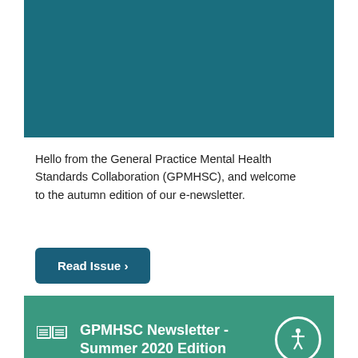[Figure (other): Teal/dark cyan banner image at top of page]
Hello from the General Practice Mental Health Standards Collaboration (GPMHSC), and welcome to the autumn edition of our e-newsletter.
Read Issue >
GPMHSC Newsletter - Summer 2020 Edition